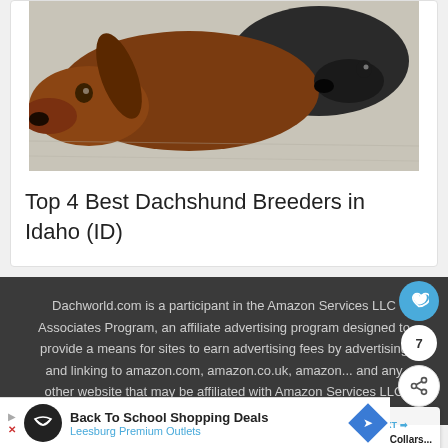[Figure (photo): Two dachshund dogs lying on carpet, one long-haired brown and one black, photographed from the front]
Top 4 Best Dachshund Breeders in Idaho (ID)
Dachworld.com is a participant in the Amazon Services LLC Associates Program, an affiliate advertising program designed to provide a means for sites to earn advertising fees by advertising and linking to amazon.com, amazon.co.uk, amazon... and any other website that may be affiliated with Amazon Services LLC Associates Program.
[Figure (screenshot): Advertisement banner: Back To School Shopping Deals – Leesburg Premium Outlets]